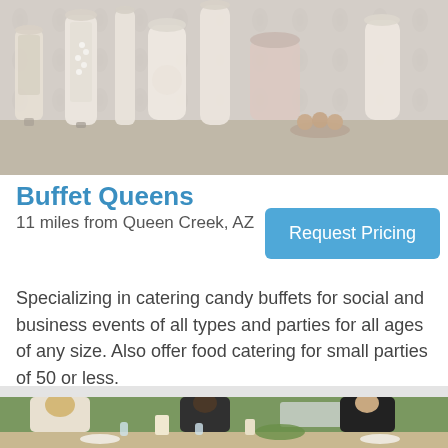[Figure (photo): Photo of a candy buffet display with glass jars, vases filled with white and pink candies, and small pastries on a decorative table.]
Buffet Queens
11 miles from Queen Creek, AZ
Request Pricing
Specializing in catering candy buffets for social and business events of all types and parties for all ages of any size. Also offer food catering for small parties of 50 or less.
[Figure (photo): Photo of people seated at an outdoor dining table with candles, glasses, and plates of food, with a woman in a white lace top visible prominently.]